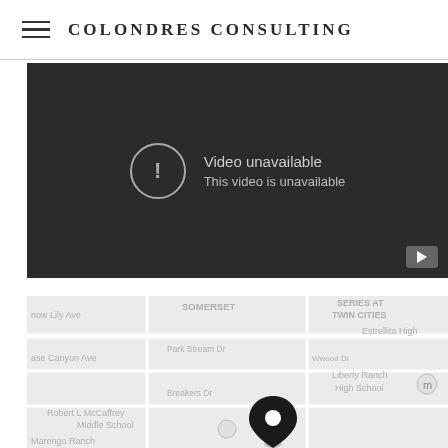COLONDRES CONSULTING
[Figure (screenshot): YouTube embedded video player showing 'Video unavailable — This video is unavailable' error on dark background]
[Figure (map): Google Maps embed showing a location pin near Robert L McCaffrey Middle School, with street labels including SOMERSET, SERIES AT TWIN CITIES, Estrellita High, Liberty Ranch High School, Park Stream Dr, Breakers Dr, Marengo Ranch]